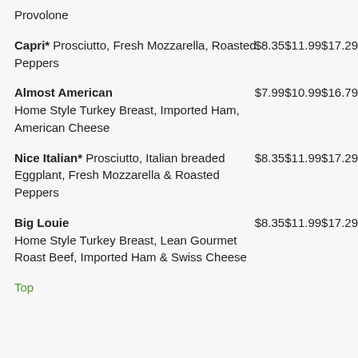Provolone
Capri* Prosciutto, Fresh Mozzarella, Roasted Peppers  $8.35  $11.99  $17.29
Almost American — Home Style Turkey Breast, Imported Ham, American Cheese  $7.99  $10.99  $16.79
Nice Italian* Prosciutto, Italian breaded Eggplant, Fresh Mozzarella & Roasted Peppers  $8.35  $11.99  $17.29
Big Louie — Home Style Turkey Breast, Lean Gourmet Roast Beef, Imported Ham & Swiss Cheese  $8.35  $11.99  $17.29
Top